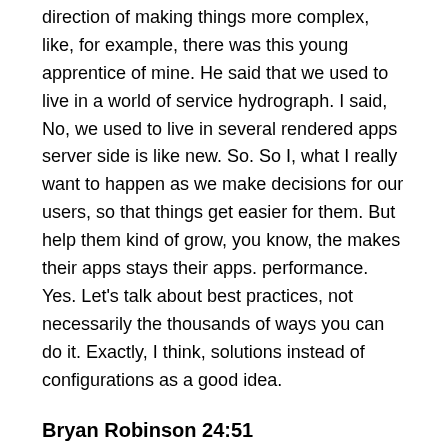direction of making things more complex, like, for example, there was this young apprentice of mine. He said that we used to live in a world of service hydrograph. I said, No, we used to live in several rendered apps server side is like new. So. So I, what I really want to happen as we make decisions for our users, so that things get easier for them. But help them kind of grow, you know, the makes their apps stays their apps. performance. Yes. Let's talk about best practices, not necessarily the thousands of ways you can do it. Exactly, I think, solutions instead of configurations as a good idea.
Bryan Robinson 24:51
Yeah, exactly. So that's the call to action for the episode right there is go out and make simple